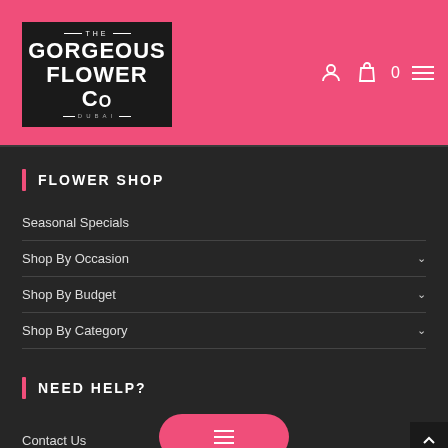[Figure (logo): The Gorgeous Flower Co Dubai logo — white text on dark background square]
FLOWER SHOP
Seasonal Specials
Shop By Occasion
Shop By Budget
Shop By Category
NEED HELP?
Contact Us
Visit a branch?